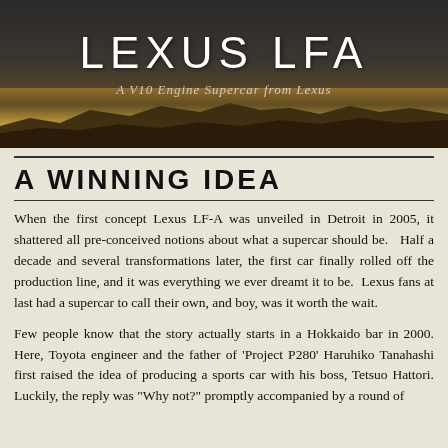[Figure (illustration): Dark header background with a desert/mountain landscape silhouette. Golden horizon gradient fading from warm amber/gold at the horizon to dark brown/black sky.]
LEXUS LFA
A V10 Engine Supercar from Lexus
A WINNING IDEA
When the first concept Lexus LF-A was unveiled in Detroit in 2005, it shattered all pre-conceived notions about what a supercar should be. Half a decade and several transformations later, the first car finally rolled off the production line, and it was everything we ever dreamt it to be. Lexus fans at last had a supercar to call their own, and boy, was it worth the wait.
Few people know that the story actually starts in a Hokkaido bar in 2000. Here, Toyota engineer and the father of 'Project P280' Haruhiko Tanahashi first raised the idea of producing a sports car with his boss, Tetsuo Hattori. Luckily, the reply was "Why not?" promptly accompanied by a round of